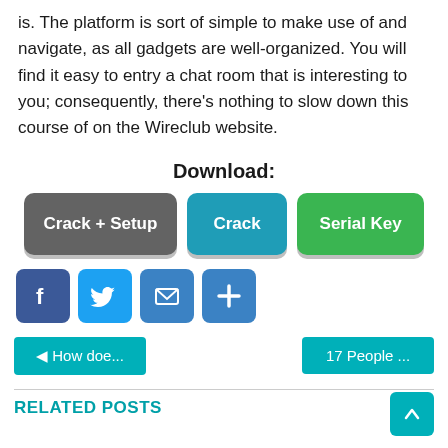is. The platform is sort of simple to make use of and navigate, as all gadgets are well-organized. You will find it easy to entry a chat room that is interesting to you; consequently, there's nothing to slow down this course of on the Wireclub website.
Download:
[Figure (infographic): Three download buttons: 'Crack + Setup' (gray), 'Crack' (teal), 'Serial Key' (green)]
[Figure (infographic): Four social share icons: Facebook (blue f), Twitter (bird), Email (envelope), Plus (share)]
[Figure (infographic): Navigation buttons: '◀ How doe...' on left and '17 People ...' on right, both teal]
RELATED POSTS